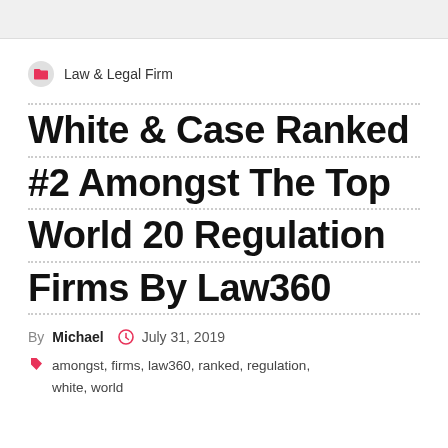Law & Legal Firm
White & Case Ranked #2 Amongst The Top World 20 Regulation Firms By Law360
By Michael  July 31, 2019
amongst, firms, law360, ranked, regulation, white, world